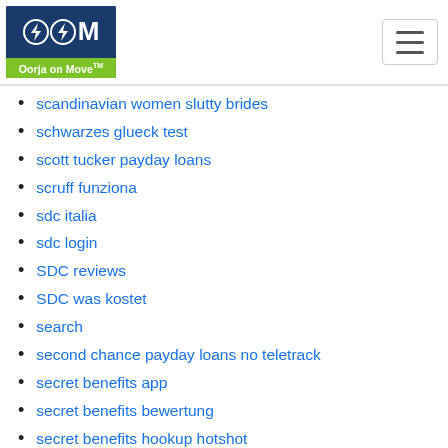[Figure (logo): Oorja on Move logo: dark blue background with lightning bolt icons and letter M, green bar below with 'Oorja on Move' text]
[Figure (other): Hamburger menu button (three horizontal lines) in a rounded rectangle border]
scandinavian women slutty brides
schwarzes glueck test
scott tucker payday loans
scruff funziona
sdc italia
sdc login
SDC reviews
SDC was kostet
search
second chance payday loans no teletrack
secret benefits app
secret benefits bewertung
secret benefits hookup hotshot
Secret Benefits review
secretpartnersuche.de Handy, Mobiltelefon
secretpartnersuche.de Ich dachte dar?ber